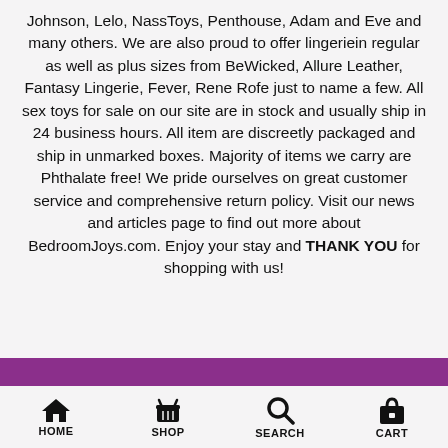Johnson, Lelo, NassToys, Penthouse, Adam and Eve and many others. We are also proud to offer lingerie in regular as well as plus sizes from BeWicked, Allure Leather, Fantasy Lingerie, Fever, Rene Rofe just to name a few. All sex toys for sale on our site are in stock and usually ship in 24 business hours. All item are discreetly packaged and ship in unmarked boxes. Majority of items we carry are Phthalate free! We pride ourselves on great customer service and comprehensive return policy. Visit our news and articles page to find out more about BedroomJoys.com. Enjoy your stay and THANK YOU for shopping with us!
HOME | SHOP | SEARCH | CART